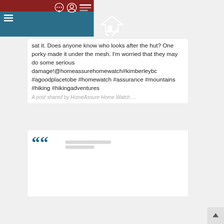[Figure (screenshot): Website header with dark red top bar containing chat, user, and search icons, and a teal/blue navigation bar with hamburger menu and HomeAssure Home Watch logo]
sat it. Does anyone know who looks after the hut? One porky made it under the mesh. I'm worried that they may do some serious damage!@homeassurehomewatch#kimberleybc #agoodplacetobe #homewatch #assurance #mountains #hiking #hikingadventures
A post shared by HomeAssure Home Watch …
[Figure (screenshot): Social media quote card with large teal quotation mark and grey loading placeholder lines below it]